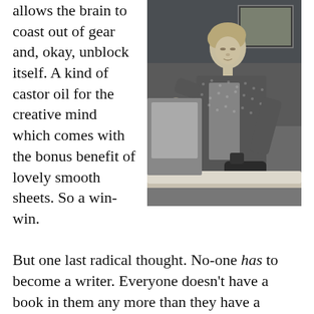allows the brain to coast out of gear and, okay, unblock itself. A kind of castor oil for the creative mind which comes with the bonus benefit of lovely smooth sheets. So a win-win.

But one last radical thought. No-one has to become a writer. Everyone doesn't have a book in them any more than they have a symphony up their sleeve. Sorry. If you think you're a writer, if you're just starting out and you find you keep getting blocked, walk away, be something else for heaven's sake. Life is long and
[Figure (photo): Black and white vintage photograph of a woman in a patterned dress and apron ironing clothes at an ironing board, with framed pictures on the wall behind her.]